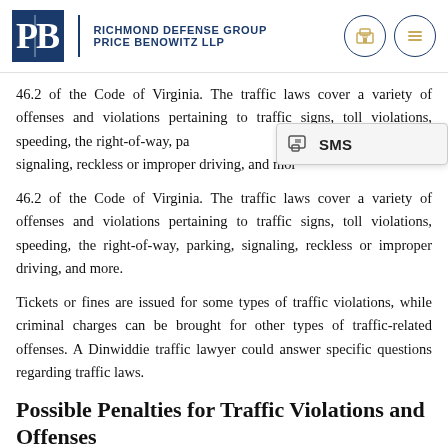Richmond Defense Group Price Benowitz LLP
46.2 of the Code of Virginia. The traffic laws cover a variety of offenses and violations pertaining to traffic signs, toll violations, speeding, the right-of-way, parking, signaling, reckless or improper driving, and more.
Tickets or fines are issued for some types of traffic violations, while criminal charges can be brought for other types of traffic-related offenses. A Dinwiddie traffic lawyer could answer specific questions regarding traffic laws.
Possible Penalties for Traffic Violations and Offenses
The legal penalties for traffic violations and offenses in